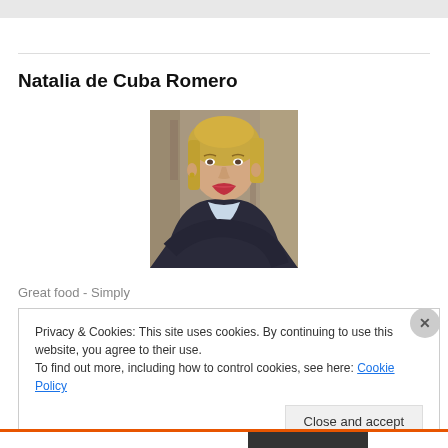Natalia de Cuba Romero
[Figure (photo): Portrait photo of a blonde woman in a dark jacket against a tree bark background]
Great food - Simply
Privacy & Cookies: This site uses cookies. By continuing to use this website, you agree to their use.
To find out more, including how to control cookies, see here: Cookie Policy
Close and accept